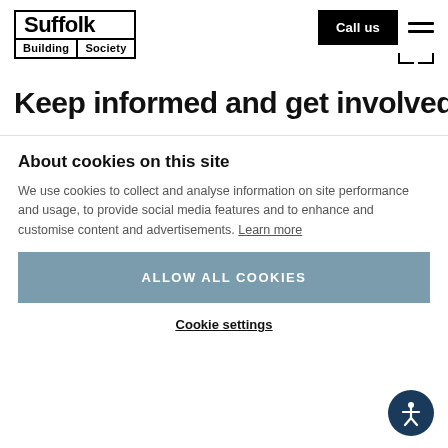[Figure (logo): Suffolk Building Society logo — black bordered box with 'Suffolk' in large bold text and 'Building | Society' in smaller text below]
Call us
Keep informed and get involved
About cookies on this site
We use cookies to collect and analyse information on site performance and usage, to provide social media features and to enhance and customise content and advertisements. Learn more
ALLOW ALL COOKIES
Cookie settings